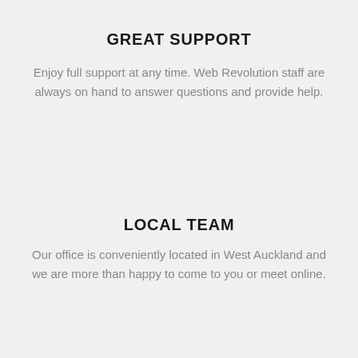GREAT SUPPORT
Enjoy full support at any time. Web Revolution staff are always on hand to answer questions and provide help.
LOCAL TEAM
Our office is conveniently located in West Auckland and we are more than happy to come to you or meet online.